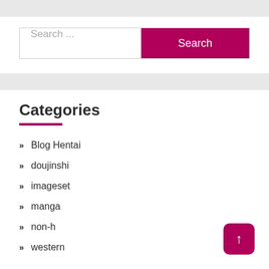Search ...
Categories
Blog Hentai
doujinshi
imageset
manga
non-h
western